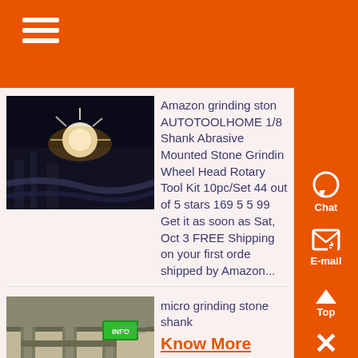Navigation menu header bar with hamburger icon
[Figure (photo): Dark photo of industrial equipment with bright sparks/light, plasma cutting scene]
Amazon grinding ston AUTOTOOLHOME 1/8 Shank Abrasive Mounted Stone Grinding Wheel Head Rotary Tool Kit 10pc/Set 44 out of 5 stars 169 5 5 99 Get it as soon as Sat, Oct 3 FREE Shipping on your first order shipped by Amazon...
[Figure (photo): Industrial building interior with metal pillars and structures, green light visible]
micro grinding stone shank
Know More
07-10-2021 0183 32 grinding stone 6 mm shank - ajitindustriin grinding stone 6 mm shank -